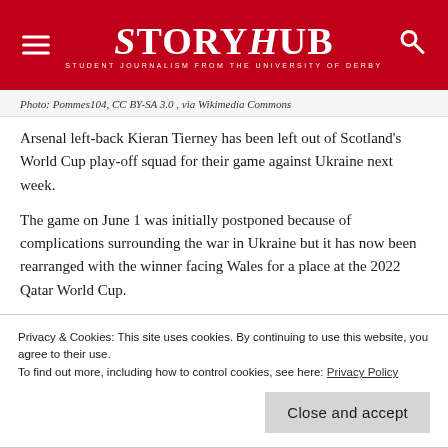StoryHub — Student Journalism from the University of Derby
Photo: Pommes104, CC BY-SA 3.0 , via Wikimedia Commons
Arsenal left-back Kieran Tierney has been left out of Scotland's World Cup play-off squad for their game against Ukraine next week.
The game on June 1 was initially postponed because of complications surrounding the war in Ukraine but it has now been rearranged with the winner facing Wales for a place at the 2022 Qatar World Cup.
Tierney is currently recovering from knee surgery and has
Privacy & Cookies: This site uses cookies. By continuing to use this website, you agree to their use.
To find out more, including how to control cookies, see here: Privacy Policy